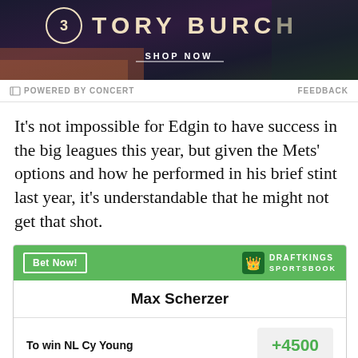[Figure (photo): Tory Burch advertisement banner with dark background, logo and 'SHOP NOW' button]
POWERED BY CONCERT   FEEDBACK
It’s not impossible for Edgin to have success in the big leagues this year, but given the Mets’ options and how he performed in his brief stint last year, it’s understandable that he might not get that shot.
| Max Scherzer |  |
| --- | --- |
| To win NL Cy Young | +4500 |
| To win NL MVP | +10000 |